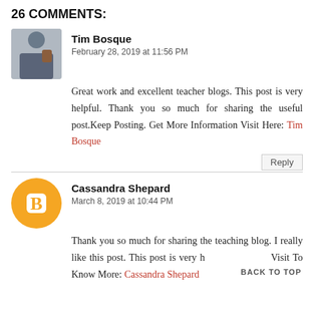26 COMMENTS:
Tim Bosque
February 28, 2019 at 11:56 PM
Great work and excellent teacher blogs. This post is very helpful. Thank you so much for sharing the useful post.Keep Posting. Get More Information Visit Here: Tim Bosque
Reply
Cassandra Shepard
March 8, 2019 at 10:44 PM
Thank you so much for sharing the teaching blog. I really like this post. This post is very h Visit To Know More: Cassandra Shepard
BACK TO TOP